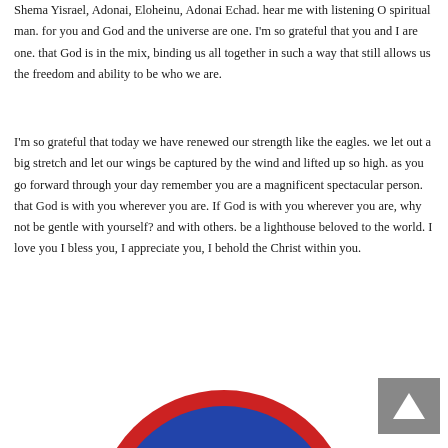Shema Yisrael, Adonai, Eloheinu, Adonai Echad. hear me with listening O spiritual man. for you and God and the universe are one. I'm so grateful that you and I are one. that God is in the mix, binding us all together in such a way that still allows us the freedom and ability to be who we are.
I'm so grateful that today we have renewed our strength like the eagles. we let out a big stretch and let our wings be captured by the wind and lifted up so high. as you go forward through your day remember you are a magnificent spectacular person. that God is with you wherever you are. If God is with you wherever you are, why not be gentle with yourself? and with others. be a lighthouse beloved to the world. I love you I bless you, I appreciate you, I behold the Christ within you.
[Figure (illustration): A circular illustration showing a blue and red globe or planet image, partially visible at the bottom of the page, with a navigation arrow button in the bottom right corner.]